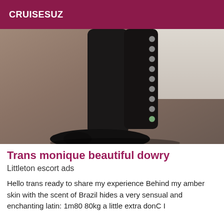CRUISESUZ
[Figure (photo): Photo of black studded knee-high boots on a brown carpeted floor against a white wall]
Trans monique beautiful dowry
Littleton escort ads
Hello trans ready to share my experience Behind my amber skin with the scent of Brazil hides a very sensual and enchanting latin: 1m80 80kg a little extra donC I